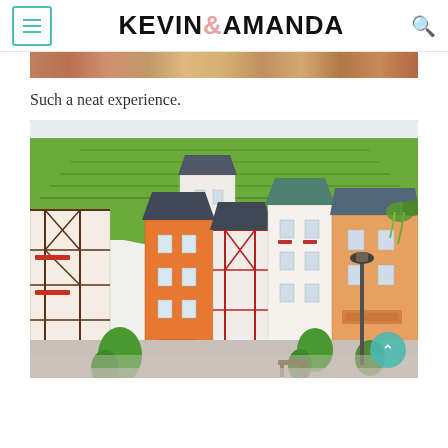KEVIN & AMANDA
[Figure (photo): Partial view of a colorful European street scene, cropped at top of page]
Such a neat experience.
[Figure (photo): Colorful German village street with half-timbered buildings, orange and white facades, green vineyard hillside in background, street lamp, lush plants and flowers]